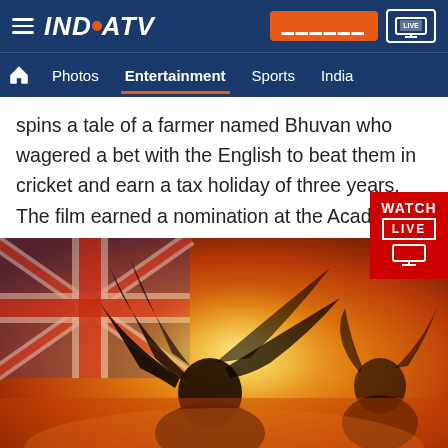INDIA TV — Entertainment navigation bar with Photos, Entertainment, Sports, India
spins a tale of a farmer named Bhuvan who wagered a bet with the English to beat them in cricket and earn a tax holiday of three years. The film earned a nomination at the Academy Awards for Best Foreign Language Film.
[Figure (photo): Movie poster for Lagaan (or similar Bollywood film) with a figure with dark flowing hair against an orange/fire background with a Union Jack flag visible]